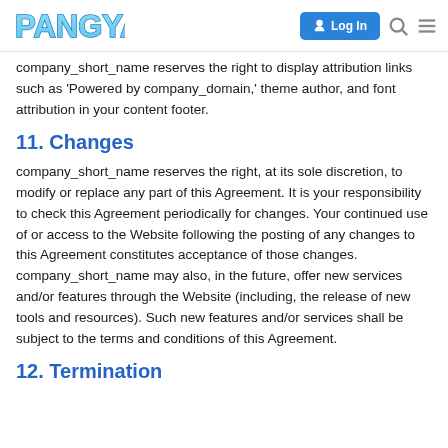PANGYA — Log In
company_short_name reserves the right to display attribution links such as 'Powered by company_domain,' theme author, and font attribution in your content footer.
11. Changes
company_short_name reserves the right, at its sole discretion, to modify or replace any part of this Agreement. It is your responsibility to check this Agreement periodically for changes. Your continued use of or access to the Website following the posting of any changes to this Agreement constitutes acceptance of those changes. company_short_name may also, in the future, offer new services and/or features through the Website (including, the release of new tools and resources). Such new features and/or services shall be subject to the terms and conditions of this Agreement.
12. Termination